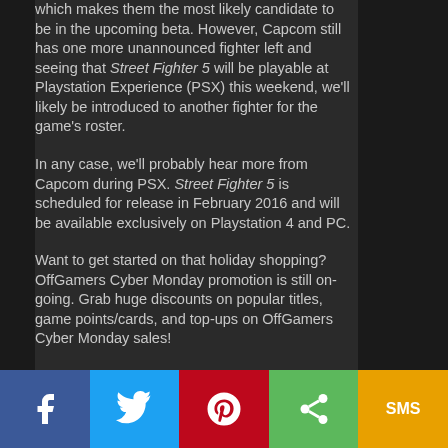which makes them the most likely candidate to be in the upcoming beta. However, Capcom still has one more unannounced fighter left and seeing that Street Fighter 5 will be playable at Playstation Experience (PSX) this weekend, we'll likely be introduced to another fighter for the game's roster.
In any case, we'll probably hear more from Capcom during PSX. Street Fighter 5 is scheduled for release in February 2016 and will be available exclusively on Playstation 4 and PC.
Want to get started on that holiday shopping? OffGamers Cyber Monday promotion is still on-going. Grab huge discounts on popular titles, game points/cards, and top-ups on OffGamers Cyber Monday sales!
[Figure (other): Social media share bar with Facebook, Twitter, Pinterest, Share, and SMS buttons]